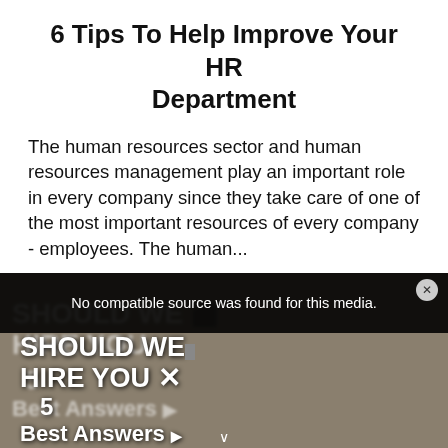6 Tips To Help Improve Your HR Department
The human resources sector and human resources management play an important role in every company since they take care of one of the most important resources of every company - employees. The human...
CONTINUE READING
[Figure (screenshot): Video player showing an error message 'No compatible source was found for this media.' overlaid on a blurred video thumbnail showing text 'SHOULD WE HIRE YOU?' '5 Best Answers' with an X close button.]